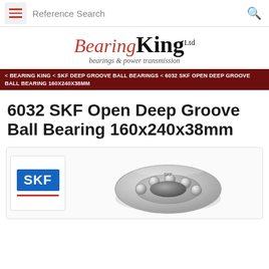Reference Search
[Figure (logo): Bearing King Ltd logo with tagline 'bearings & power transmission']
BEARING KING < SKF DEEP GROOVE BALL BEARINGS < 6032 SKF OPEN DEEP GROOVE BALL BEARING 160X240X38MM
6032 SKF Open Deep Groove Ball Bearing 160x240x38mm
[Figure (photo): SKF logo badge on left, photo of 6032 SKF deep groove ball bearing showing metallic ball bearing ring with balls visible]